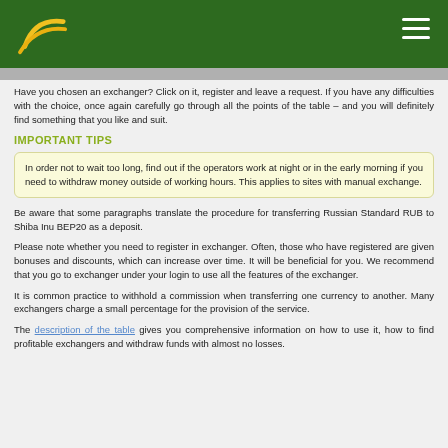[Website header with logo and navigation menu]
Have you chosen an exchanger? Click on it, register and leave a request. If you have any difficulties with the choice, once again carefully go through all the points of the table – and you will definitely find something that you like and suit.
IMPORTANT TIPS
In order not to wait too long, find out if the operators work at night or in the early morning if you need to withdraw money outside of working hours. This applies to sites with manual exchange.
Be aware that some paragraphs translate the procedure for transferring Russian Standard RUB to Shiba Inu BEP20 as a deposit.
Please note whether you need to register in exchanger. Often, those who have registered are given bonuses and discounts, which can increase over time. It will be beneficial for you. We recommend that you go to exchanger under your login to use all the features of the exchanger.
It is common practice to withhold a commission when transferring one currency to another. Many exchangers charge a small percentage for the provision of the service.
The description of the table gives you comprehensive information on how to use it, how to find profitable exchangers and withdraw funds with almost no losses.